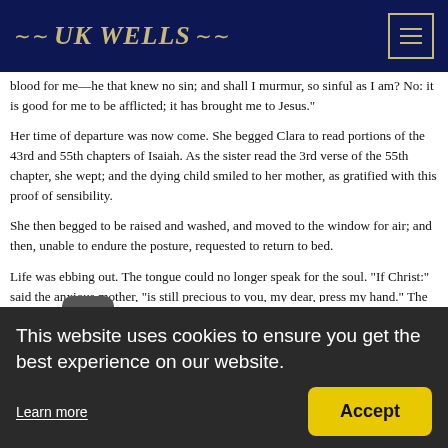UK WELLS
blood for me—he that knew no sin; and shall I murmur, so sinful as I am? No: it is good for me to be afflicted; it has brought me to Jesus."
Her time of departure was now come. She begged Clara to read portions of the 43rd and 55th chapters of Isaiah. As the sister read the 3rd verse of the 55th chapter, she wept; and the dying child smiled to her mother, as gratified with this proof of sensibility.
She then begged to be raised and washed, and moved to the window for air; and then, unable to endure the posture, requested to return to bed.
Life was ebbing out. The tongue could no longer speak for the soul. "If Christ:" said the anxious mother, "is still precious to you, my dear, press my hand." The hand was affectionately pressed. A little time elapsed: the mother still sought to be re-assured. The hand again pressed its rent's, and then relaxed into the weakness of death!
The event happened on the 30th of May 1810, and when she was
This website uses cookies to ensure you get the best experience on our website.
Learn more